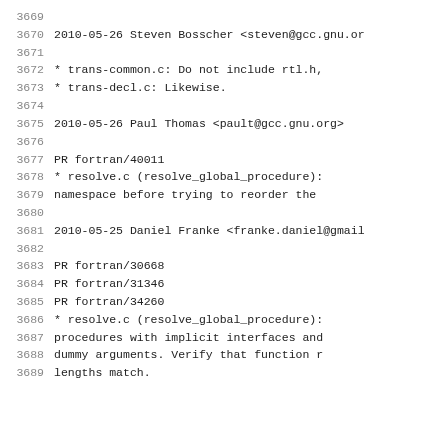3669
3670   2010-05-26  Steven Bosscher  <steven@gcc.gnu.or
3671
3672          * trans-common.c: Do not include rtl.h,
3673          * trans-decl.c: Likewise.
3674
3675   2010-05-26  Paul Thomas  <pault@gcc.gnu.org>
3676
3677          PR fortran/40011
3678          * resolve.c (resolve_global_procedure):
3679          namespace before trying to reorder the
3680
3681   2010-05-25  Daniel Franke  <franke.daniel@gmail
3682
3683          PR fortran/30668
3684          PR fortran/31346
3685          PR fortran/34260
3686          * resolve.c (resolve_global_procedure):
3687          procedures with implicit interfaces and
3688          dummy arguments. Verify that function r
3689          lengths match.